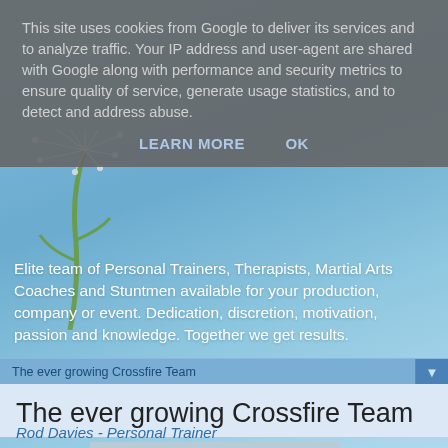This site uses cookies from Google to deliver its services and to analyze traffic. Your IP address and user-agent are shared with Google along with performance and security metrics to ensure quality of service, generate usage statistics, and to detect and address abuse.
LEARN MORE    OK
Elite team of Personal Trainers, Therapists, Martial Arts Coaches and Stuntmen available for your production, company or event. Dedication, discretion, motivation, passion and knowledge. Together we get results.
The ever growing Crossfire Team
The ever growing Crossfire Team
Rod Davies - Personal Trainer
[Figure (photo): Partial photo of a person outdoors with trees in background]